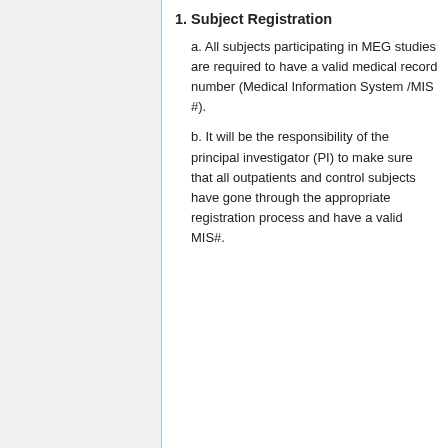1. Subject Registration
a. All subjects participating in MEG studies are required to have a valid medical record number (Medical Information System /MIS #).
b. It will be the responsibility of the principal investigator (PI) to make sure that all outpatients and control subjects have gone through the appropriate registration process and have a valid MIS#.